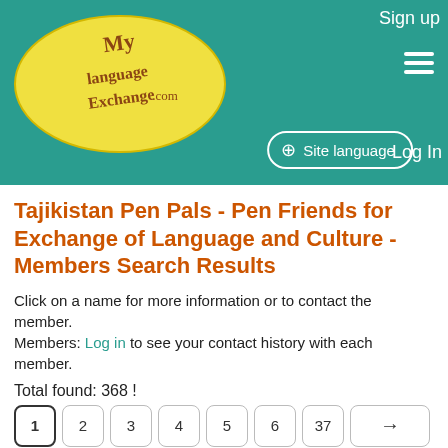Sign up | Site language | Log In
[Figure (logo): MyLanguageExchange.com logo — yellow oval with cursive text on teal background]
Tajikistan Pen Pals - Pen Friends for Exchange of Language and Culture - Members Search Results
Click on a name for more information or to contact the member.
Members: Log in to see your contact history with each member.
Total found: 368 !
Pagination: 1 2 3 4 5 6 37 →
| Name |
| --- |
[Figure (illustration): Yellow smiley face icon with text 'Waiting for picture' below]